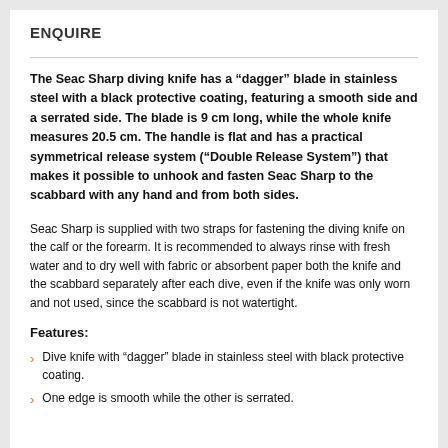ENQUIRE
The Seac Sharp diving knife has a “dagger” blade in stainless steel with a black protective coating, featuring a smooth side and a serrated side. The blade is 9 cm long, while the whole knife measures 20.5 cm. The handle is flat and has a practical symmetrical release system (“Double Release System”) that makes it possible to unhook and fasten Seac Sharp to the scabbard with any hand and from both sides.
Seac Sharp is supplied with two straps for fastening the diving knife on the calf or the forearm. It is recommended to always rinse with fresh water and to dry well with fabric or absorbent paper both the knife and the scabbard separately after each dive, even if the knife was only worn and not used, since the scabbard is not watertight.
Features:
Dive knife with “dagger” blade in stainless steel with black protective coating.
One edge is smooth while the other is serrated.